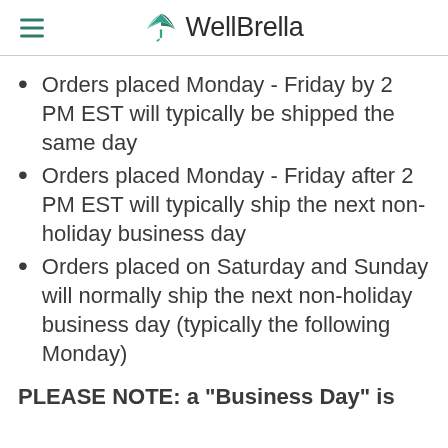WellBrella
Orders placed Monday - Friday by 2 PM EST will typically be shipped the same day
Orders placed Monday - Friday after 2 PM EST will typically ship the next non-holiday business day
Orders placed on Saturday and Sunday will normally ship the next non-holiday business day (typically the following Monday)
PLEASE NOTE: a "Business Day" is